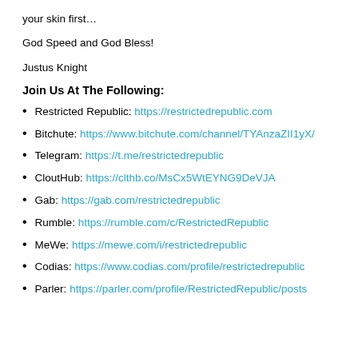your skin first…
God Speed and God Bless!
Justus Knight
Join Us At The Following:
Restricted Republic: https://restrictedrepublic.com
Bitchute: https://www.bitchute.com/channel/TYAnzaZII1yX/
Telegram: https://t.me/restrictedrepublic
CloutHub: https://clthb.co/MsCx5WtEYNG9DeVJA
Gab: https://gab.com/restrictedrepublic
Rumble: https://rumble.com/c/RestrictedRepublic
MeWe: https://mewe.com/i/restrictedrepublic
Codias: https://www.codias.com/profile/restrictedrepublic
Parler: https://parler.com/profile/RestrictedRepublic/posts